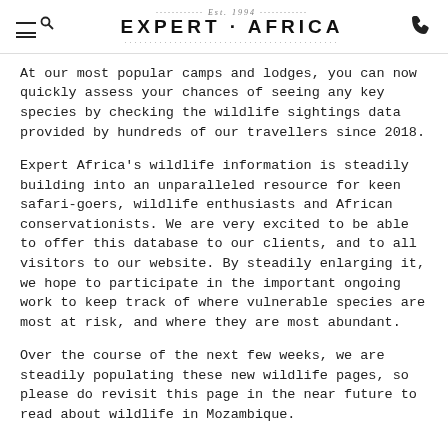Est. 1994 EXPERT · AFRICA
At our most popular camps and lodges, you can now quickly assess your chances of seeing any key species by checking the wildlife sightings data provided by hundreds of our travellers since 2018.
Expert Africa's wildlife information is steadily building into an unparalleled resource for keen safari-goers, wildlife enthusiasts and African conservationists. We are very excited to be able to offer this database to our clients, and to all visitors to our website. By steadily enlarging it, we hope to participate in the important ongoing work to keep track of where vulnerable species are most at risk, and where they are most abundant.
Over the course of the next few weeks, we are steadily populating these new wildlife pages, so please do revisit this page in the near future to read about wildlife in Mozambique.